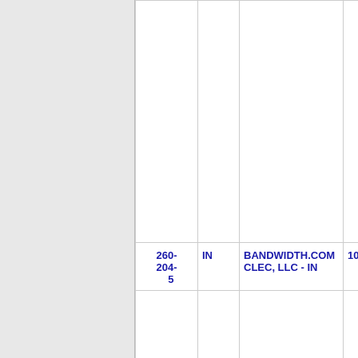|  |  |  |  |
| --- | --- | --- | --- |
| 260-204-5 | IN | BANDWIDTH.COM CLEC, LLC - IN | 105F |
|  |  |  |  |
| 260-204-6 | IN | BANDWIDTH.COM CLEC, LLC - IN | 105F |